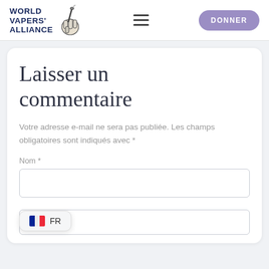World Vapers' Alliance — DONNER
Laisser un commentaire
Votre adresse e-mail ne sera pas publiée. Les champs obligatoires sont indiqués avec *
Nom *